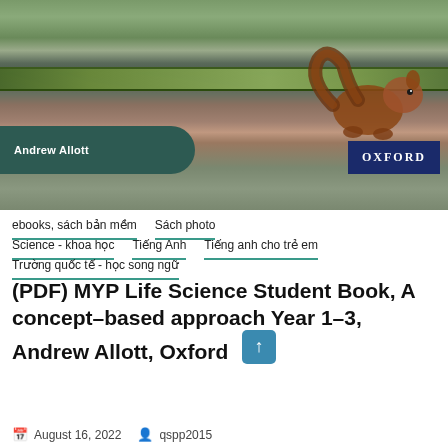[Figure (photo): Book cover photo showing a red squirrel reflected in water, with a moss-covered branch. Author name 'Andrew Allott' on dark teal panel, Oxford logo on dark blue badge.]
ebooks, sách bản mềm
Sách photo
Science - khoa học
Tiếng Anh
Tiếng anh cho trẻ em
Trường quốc tế - học song ngữ
(PDF) MYP Life Science Student Book, A concept-based approach Year 1–3, Andrew Allott, Oxford
August 16, 2022   qspp2015